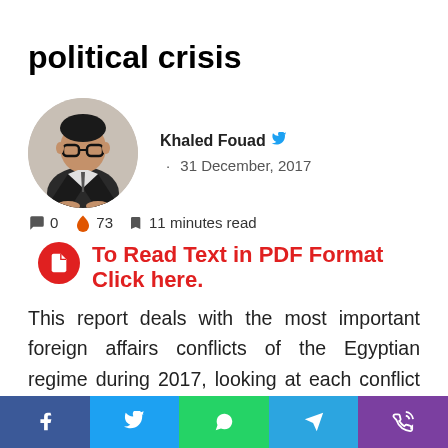political crisis
[Figure (photo): Circular avatar photo of author Khaled Fouad, a man with glasses wearing a dark suit, seated.]
Khaled Fouad · 31 December, 2017
🗨 0  🔥 73  🔖 11 minutes read
To Read Text in PDF Format Click here.
This report deals with the most important foreign affairs conflicts of the Egyptian regime during 2017, looking at each conflict from two